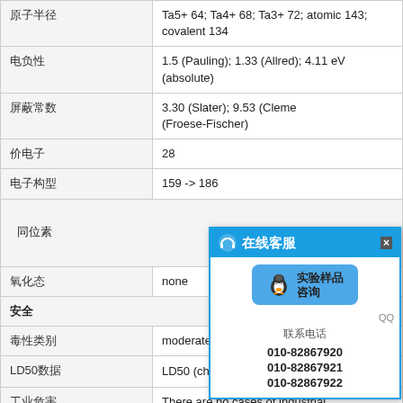| 属性 | 值 |
| --- | --- |
| 原子半径 | Ta5+ 64; Ta4+ 68; Ta3+ 72; atomic 143; covalent 134 |
| 电负性 | 1.5 (Pauling); 1.33 (Allred); 4.11 eV (absolute) |
| 屏蔽常数等 | 3.30 (Slater); 9.53 (Cleme... (Froese-Fischer) |
| 价电子数 | 28 |
| 电子构型编号 | 159 -> 186 |
| 同位素 | （图片弹窗遮挡） |
| 氧化态 | none |
| 安全 |  |
| 毒性类别 | moderately poisonous by ingestion |
| LD50 | LD50 (chloride, oral, rat)= 1900 mg kg-1 |
| 工业危害 | There are no cases of industrial |